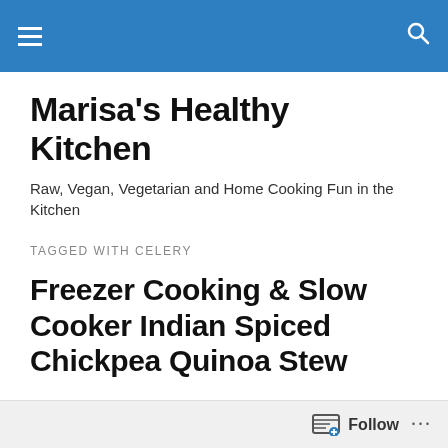Marisa's Healthy Kitchen [navigation bar]
Marisa's Healthy Kitchen
Raw, Vegan, Vegetarian and Home Cooking Fun in the Kitchen
TAGGED WITH CELERY
Freezer Cooking & Slow Cooker Indian Spiced Chickpea Quinoa Stew
Here is a super simple deelish slow cooker meal! We LOVE a great one-pot meal! I like Kathy's suggestions
Follow ...